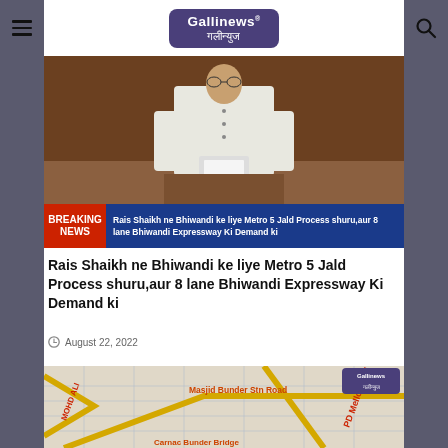Gallinews गलीन्युज
[Figure (photo): A man in white traditional Indian attire standing at a podium, appearing to speak, with a dark wooden background.]
BREAKING NEWS — Rais Shaikh ne Bhiwandi ke liye Metro 5 Jald Process shuru,aur 8 lane Bhiwandi Expressway Ki Demand ki
Rais Shaikh ne Bhiwandi ke liye Metro 5 Jald Process shuru,aur 8 lane Bhiwandi Expressway Ki Demand ki
August 22, 2022
[Figure (map): A street map showing Masjid Bunder Stn Road, PD Mello Road, MOHD ALI road, and Carnac Bunder Bridge area with road network overlaid with labels in red/orange text. Gallinews logo visible in top right corner of the map.]